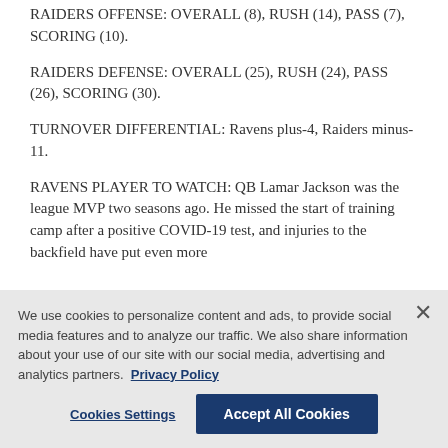RAIDERS OFFENSE: OVERALL (8), RUSH (14), PASS (7), SCORING (10).
RAIDERS DEFENSE: OVERALL (25), RUSH (24), PASS (26), SCORING (30).
TURNOVER DIFFERENTIAL: Ravens plus-4, Raiders minus-11.
RAVENS PLAYER TO WATCH: QB Lamar Jackson was the league MVP two seasons ago. He missed the start of training camp after a positive COVID-19 test, and injuries to the backfield have put even more
We use cookies to personalize content and ads, to provide social media features and to analyze our traffic. We also share information about your use of our site with our social media, advertising and analytics partners. Privacy Policy
Cookies Settings    Accept All Cookies